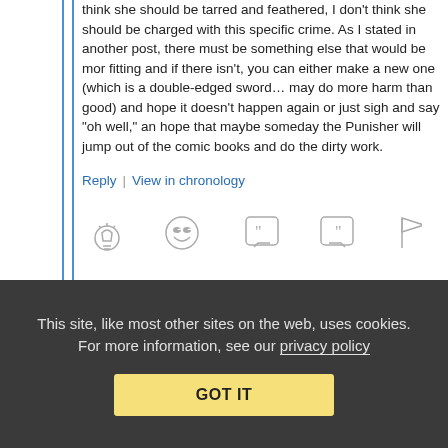think she should be tarred and feathered, I don't think she should be charged with this specific crime. As I stated in another post, there must be something else that would be more fitting and if there isn't, you can either make a new one (which is a double-edged sword… may do more harm than good) and hope it doesn't happen again or just sigh and say "oh well," and hope that maybe someday the Punisher will jump out of the comic books and do the dirty work.
Reply | View in chronology
[Figure (other): Row of interaction icons: lightbulb (insight), laughing emoji, open quote bubble, close quote bubble, flag]
[4]
This site, like most other sites on the web, uses cookies. For more information, see our privacy policy
GOT IT